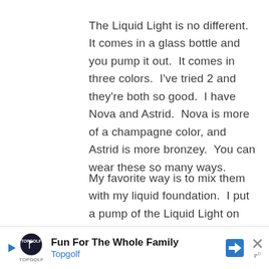The Liquid Light is no different.  It comes in a glass bottle and you pump it out.  It comes in three colors.  I've tried 2 and they're both so good.  I have Nova and Astrid.  Nova is more of a champagne color, and Astrid is more bronzey.  You can wear these so many ways.
My favorite way is to mix them with my liquid foundation.  I put a pump of the Liquid Light on my hand and then add my liquid foundation.  Then I blend it
[Figure (other): Advertisement banner for Topgolf: 'Fun For The Whole Family' with Topgolf logo, navigation arrow icon, and close button]